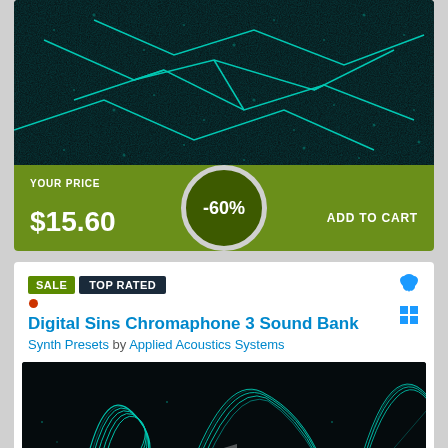[Figure (screenshot): Teal glowing particle/circuit board abstract image on dark background]
YOUR PRICE
$15.60
-60%
ADD TO CART
SALE  TOP RATED
Digital Sins Chromaphone 3 Sound Bank
Synth Presets by Applied Acoustics Systems
[Figure (photo): Dark background with glowing cyan/teal ribbon wave abstract shapes]